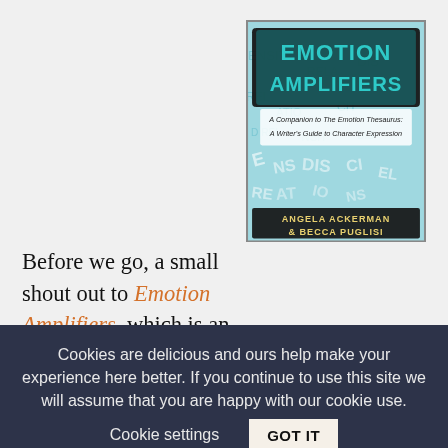Before we go, a small shout out to Emotion Amplifiers, which is an ebook companion to The Emotion Thesaurus. Not everyone knows about this little ebooklet we put together, and it packs a nice punch when you're looking to add some tension depth to a scene, or you want to heighten emotion
[Figure (illustration): Book cover of Emotion Amplifiers by Angela Ackerman & Becca Puglisi. Teal/blue background with black brush strokes over the title. Subtitle: A Companion to The Emotion Thesaurus: A Writer's Guide to Character Expression. Background filled with letters.]
Cookies are delicious and ours help make your experience here better. If you continue to use this site we will assume that you are happy with our cookie use.   Cookie settings   GOT IT